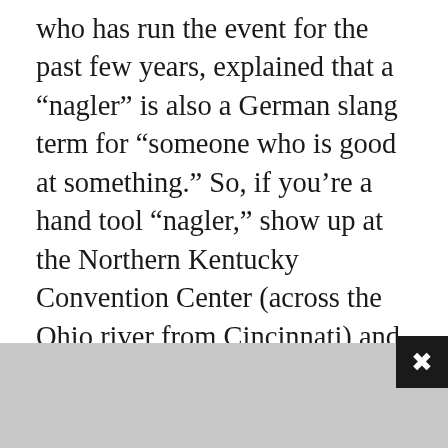who has run the event for the past few years, explained that a “nagler” is also a German slang term for “someone who is good at something.” So, if you’re a hand tool “nagler,” show up at the Northern Kentucky Convention Center (across the Ohio river from Cincinnati) and show the crowds what you can do. And if you aren’t a “nagler,” you still have a few days to practice.
In addition to pounding nails in a stump using a cross-peen hammer, the six